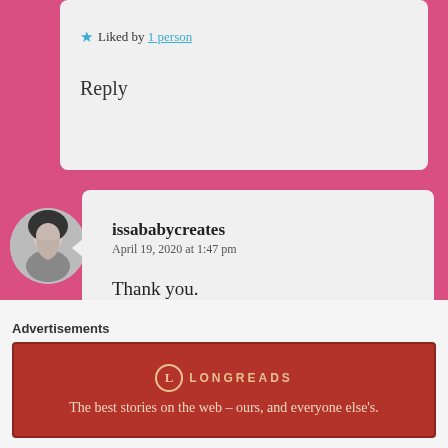★ Liked by 1 person
Reply
issababycreates
April 19, 2020 at 1:47 pm

Thank you.

★ Like

Reply
Amber
Advertisements
[Figure (other): Longreads advertisement banner: red background with Longreads logo and tagline 'The best stories on the web – ours, and everyone else's.']